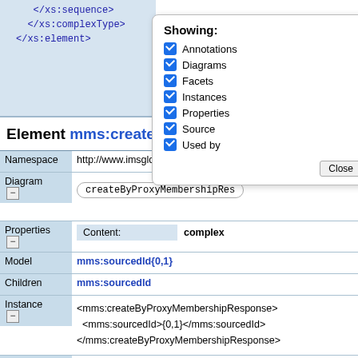</xs:sequence>
</xs:complexType>
</xs:element>
[Figure (screenshot): Showing popup with checkboxes: Annotations, Diagrams, Facets, Instances, Properties, Source, Used by, and Close button]
Element mms:createByProxyM...
| Label | Value |
| --- | --- |
| Namespace | http://www.imsglobal.org/service... |
| Diagram [-] | createByProxyMembershipRes... |
| Properties [-] | Content: complex |
| Model | mms:sourcedId{0,1} |
| Children | mms:sourcedId |
| Instance [-] | <mms:createByProxyMembershipResponse>
  <mms:sourcedId>{0,1}</mms:sourcedId>
</mms:createByProxyMembershipResponse> |
| Source [-] | <xs:element name="createByProxyMembershipResponse"
  <xs:complexType>
    <xs:sequence>
      <xs:element ref="mms:sourcedId" minOccurs="0"
    </xs:sequence> |